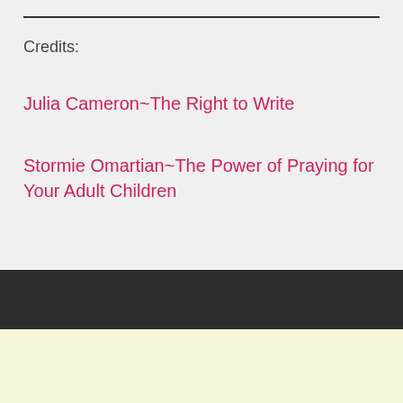Credits:
Julia Cameron~The Right to Write
Stormie Omartian~The Power of Praying for Your Adult Children